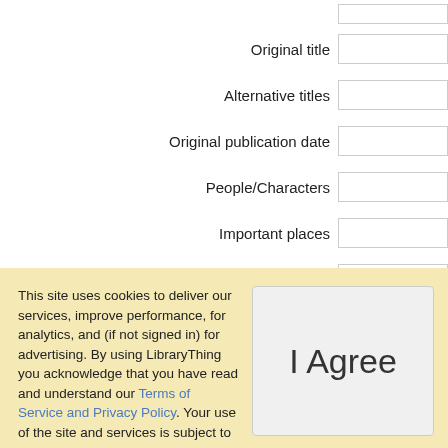Original title
Alternative titles
Original publication date
People/Characters
Important places
Important events
Related reviews
This site uses cookies to deliver our services, improve performance, for analytics, and (if not signed in) for advertising. By using LibraryThing you acknowledge that you have read and understand our Terms of Service and Privacy Policy. Your use of the site and services is subject to these policies and terms.
I Agree